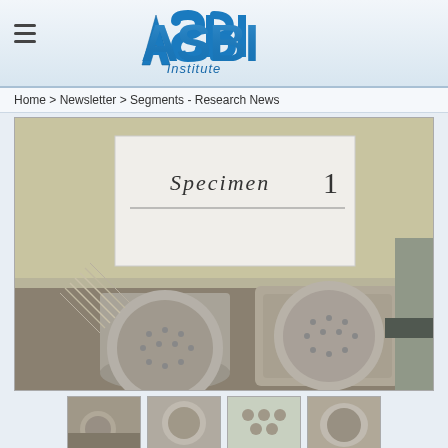ASBI Institute
Home > Newsletter > Segments - Research News
[Figure (photo): Two broken concrete specimens labeled 'Specimen 1' on a laboratory table, showing circular recessed patterns on their faces, with post-tensioning strands visible on the left side. A white sign in background reads 'SPECIMEN 1'.]
[Figure (photo): Thumbnail 1: broken concrete specimen]
[Figure (photo): Thumbnail 2: concrete specimen detail]
[Figure (photo): Thumbnail 3: concrete specimen with round holes]
[Figure (photo): Thumbnail 4: concrete specimen side view]